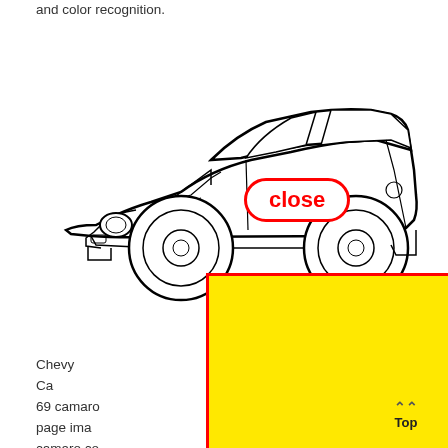and color recognition.
[Figure (illustration): Line drawing of a Chevy Camaro car viewed from the side, with a red-bordered 'close' button overlay on the car image and a large yellow rectangle covering the lower portion of the car.]
Chevy Ca... ome.com 69 camaro... oloring page ima... ch---- camaro co... hi Granpappy dodge 1959 silver challenger car printable.